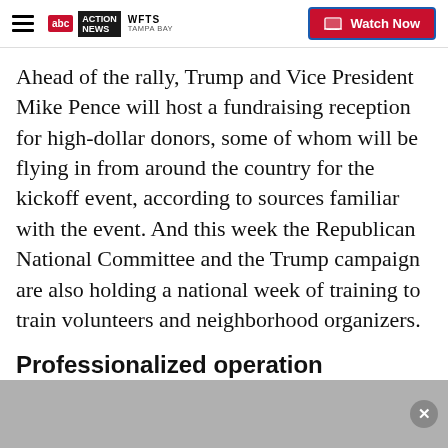WFTS TAMPA BAY | Watch Now
Ahead of the rally, Trump and Vice President Mike Pence will host a fundraising reception for high-dollar donors, some of whom will be flying in from around the country for the kickoff event, according to sources familiar with the event. And this week the Republican National Committee and the Trump campaign are also holding a national week of training to train volunteers and neighborhood organizers.
Professionalized operation
Four years ago, Trump dove into presidential politics